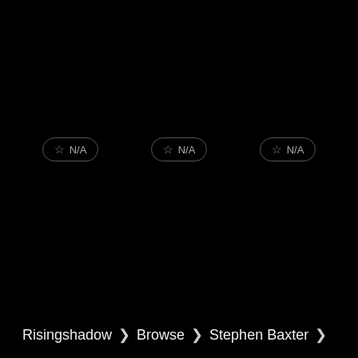[Figure (screenshot): Three rating badges showing star icon and N/A text, arranged in a row]
[Figure (screenshot): Two rating badges: one showing filled star 5.00 with person icon and count 1 (orange), one showing star 10.00 with person icon and count 1 (teal)]
Risingshadow > Browse > Stephen Baxter >